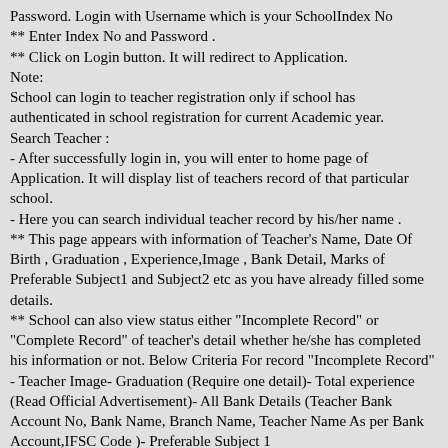Password. Login with Username which is your SchoolIndex No
** Enter Index No and Password .
** Click on Login button. It will redirect to Application.
Note:
School can login to teacher registration only if school has authenticated in school registration for current Academic year.
Search Teacher :
- After successfully login in, you will enter to home page of Application. It will display list of teachers record of that particular school.
- Here you can search individual teacher record by his/her name .
** This page appears with information of Teacher's Name, Date Of Birth , Graduation , Experience,Image , Bank Detail, Marks of Preferable Subject1 and Subject2 etc as you have already filled some details.
** School can also view status either "Incomplete Record" or "Complete Record" of teacher's detail whether he/she has completed his information or not. Below Criteria For record "Incomplete Record"
- Teacher Image- Graduation (Require one detail)- Total experience (Read Official Advertisement)- All Bank Details (Teacher Bank Account No, Bank Name, Branch Name, Teacher Name As per Bank Account,IFSC Code )- Preferable Subject 1